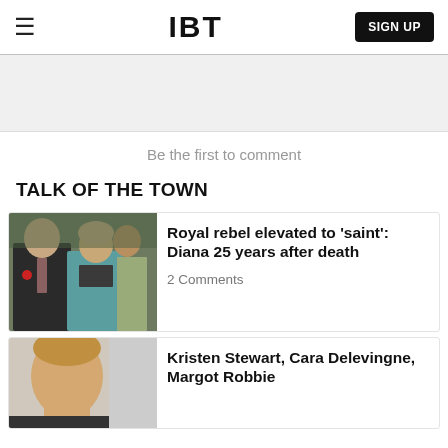IBT | SIGN UP
[Figure (other): Gray advertisement placeholder banner]
Be the first to comment
TALK OF THE TOWN
[Figure (photo): Photo of Prince Charles and Princess Diana, both in formal attire, Diana in teal jacket]
Royal rebel elevated to 'saint': Diana 25 years after death
2 Comments
[Figure (photo): Partial photo of a blonde woman, cropped at top, showing face and shoulders with GL letters visible]
Kristen Stewart, Cara Delevingne, Margot Robbie